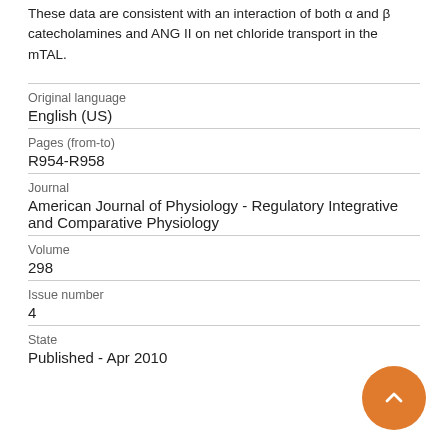These data are consistent with an interaction of both α and β catecholamines and ANG II on net chloride transport in the mTAL.
| Original language | English (US) |
| Pages (from-to) | R954-R958 |
| Journal | American Journal of Physiology - Regulatory Integrative and Comparative Physiology |
| Volume | 298 |
| Issue number | 4 |
| State | Published - Apr 2010 |